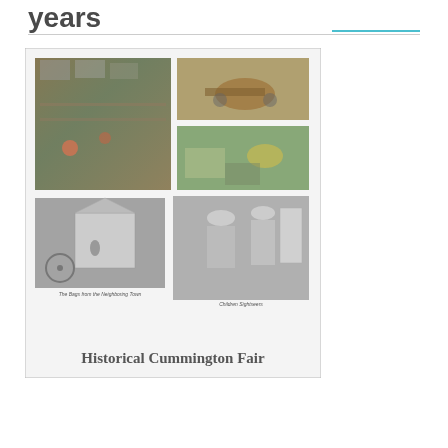years
[Figure (photo): Collage of historical fair photographs showing a busy outdoor market/fair scene from above (color), horses pulling a cart (color), a vendor area with umbrella (color), a black-and-white photo of a horse-drawn wagon near a building captioned 'The Bags from the Neighboring Town', and a black-and-white photo of children in old-fashioned dresses captioned 'Children Sightseers'. Below the photos is the text 'Historical Cummington Fair'.]